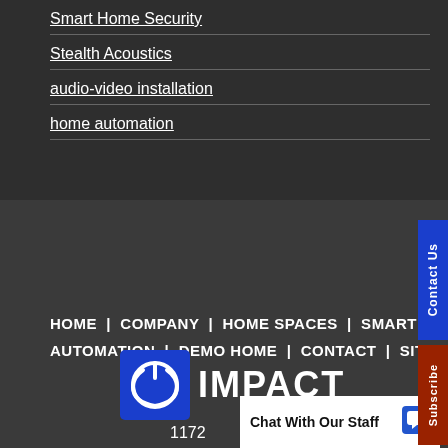Smart Home Security
Stealth Acoustics
audio-video installation
home automation
HOME | COMPANY | HOME SPACES | SMART HOME AUTOMATION | DEMO HOME | CONTACT | SITEMAP
[Figure (logo): Impact Home Automation logo - blue square with power button icon and white IMPACT text]
1172
Chat With Our Staff